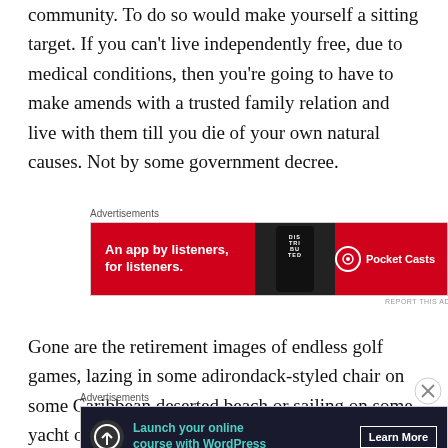community. To do so would make yourself a sitting target. If you can't live independently free, due to medical conditions, then you're going to have to make amends with a trusted family relation and live with them till you die of your own natural causes. Not by some government decree.
[Figure (other): Pocket Casts advertisement banner: red background with text 'An app by listeners, for listeners.' and a phone graphic, Pocket Casts logo on right]
Gone are the retirement images of endless golf games, lazing in some adirondack-styled chair on some Caribbean deserted beach or sailing on some yacht or
[Figure (other): WordPress advertisement banner: dark background with icon, text 'Launch your online course with WordPress' and 'Learn More' button]